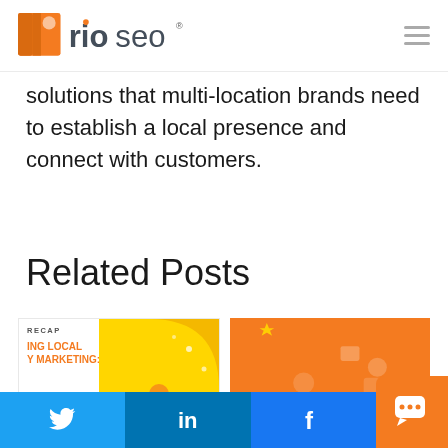rio seo logo and navigation
solutions that multi-location brands need to establish a local presence and connect with customers.
Related Posts
[Figure (screenshot): Two related post card thumbnails: left card shows a recap post titled 'ING LOCAL Y MARKETING: STRATEGIES' with a yellow holiday illustration; right card shows an orange background with illustrated figures.]
Twitter share button | LinkedIn share button | Facebook share button | Chat widget button